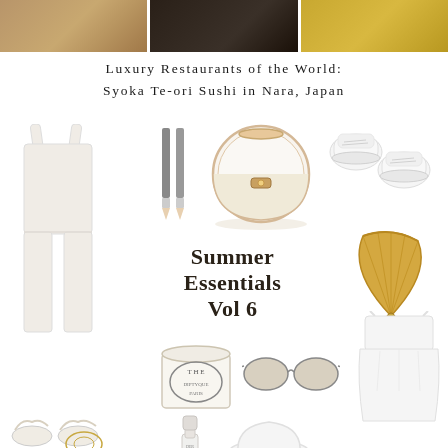[Figure (photo): Top strip of three food/restaurant photos partially visible at top of page]
Luxury Restaurants of the World:
Syoka Te-ori Sushi in Nara, Japan
[Figure (infographic): Summer Essentials Vol 6 fashion and lifestyle collage featuring white jumpsuit, pencils/eyeliners, round hat box bag, white sneakers, straw fan, Diptyque candle, sunglasses, white dress, sandals, nail polish, and white hat on white background with 'Summer Essentials Vol 6' overlaid text]